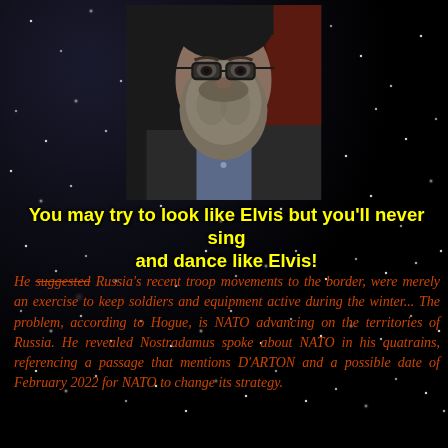[Figure (photo): Portrait photo of a bearded man in a dark jacket and blue shirt against a dark background]
You may try to look like Elvis but you'll never sing and dance like Elvis!
He suggested Russia's recent troop movements to the border, were merely an exercise to keep soldiers and equipment active during the winter... The problem, according to Hogue, is NATO advancing on the territories of Russia. He revealed Nostradamus spoke about NATO in his quatrains, referencing a passage that mentions D'ARTON and a possible date of February 2022 for NATO to change its strategy.